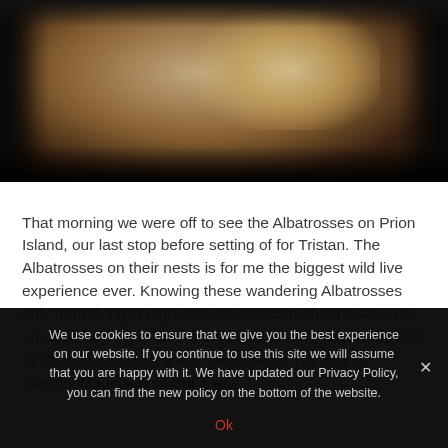[Figure (photo): A dark-toned photograph showing people, partially visible, with warm brown and golden tones against a dark background. The image is cropped showing seated or reclining figures.]
That morning we were off to see the Albatrosses on Prion Island, our last stop before setting of for Tristan. The Albatrosses on their nests is for me the biggest wild live experience ever. Knowing these wandering Albatrosses only from flying in high winds it was something else to be up close with them on the land. There were several at their nests in the tussock grass, overlooking The Bay Of Islands. Magnificent!! But it was
We use cookies to ensure that we give you the best experience on our website. If you continue to use this site we will assume that you are happy with it. We have updated our Privacy Policy, you can find the new policy on the bottom of the website.
Ok